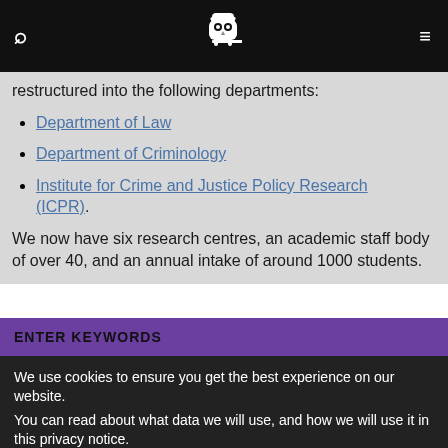[Navigation bar with search icon, owl logo, and menu icon]
restructured into the following departments:
Department of Law
Department of Criminology
Institute for Crime and Justice Policy Research (ICPR).
We now have six research centres, an academic staff body of over 40, and an annual intake of around 1000 students.
ENTER KEYWORDS
We use cookies to ensure you get the best experience on our website.
You can read about what data we will use, and how we will use it in this privacy notice.